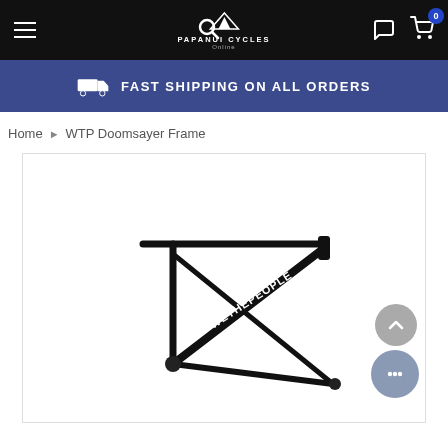Papanui Cycles — navigation bar with menu, search, logo, chat, and cart (0 items)
FAST SHIPPING ON ALL ORDERS
Home › WTP Doomsayer Frame
[Figure (photo): Black BMX bicycle frame (WTP Doomsayer) photographed against a white background, showing the top tube, down tube, and seat tube with 'WETHEPEOPLE' branding in white lettering.]